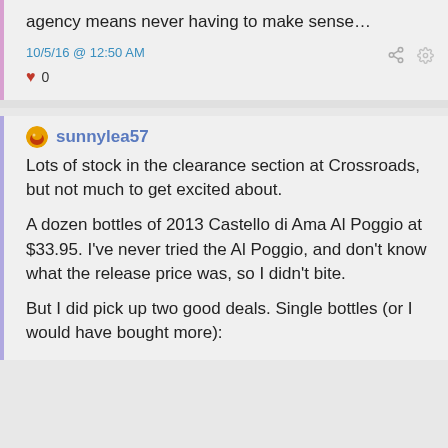agency means never having to make sense…
10/5/16 @ 12:50 AM
♥ 0
sunnylea57
Lots of stock in the clearance section at Crossroads, but not much to get excited about.
A dozen bottles of 2013 Castello di Ama Al Poggio at $33.95. I've never tried the Al Poggio, and don't know what the release price was, so I didn't bite.
But I did pick up two good deals. Single bottles (or I would have bought more):